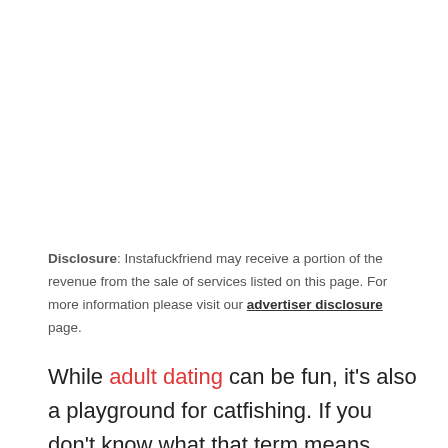Disclosure: Instafuckfriend may receive a portion of the revenue from the sale of services listed on this page. For more information please visit our advertiser disclosure page.
While adult dating can be fun, it's also a playground for catfishing. If you don't know what that term means, well you should learn before it happens to you. So, what is catfishing? This is a deceitful online